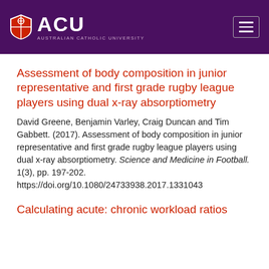[Figure (logo): ACU (Australian Catholic University) logo in purple header bar with hamburger menu button on the right]
Assessment of body composition in junior representative and first grade rugby league players using dual x-ray absorptiometry
David Greene, Benjamin Varley, Craig Duncan and Tim Gabbett. (2017). Assessment of body composition in junior representative and first grade rugby league players using dual x-ray absorptiometry. Science and Medicine in Football. 1(3), pp. 197-202. https://doi.org/10.1080/24733938.2017.1331043
Calculating acute: chronic workload ratios